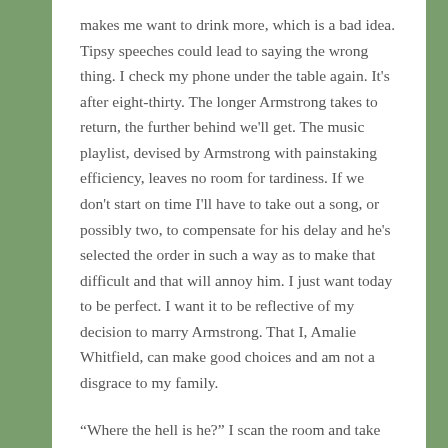makes me want to drink more, which is a bad idea. Tipsy speeches could lead to saying the wrong thing. I check my phone under the table again. It's after eight-thirty. The longer Armstrong takes to return, the further behind we'll get. The music playlist, devised by Armstrong with painstaking efficiency, leaves no room for tardiness. If we don't start on time I'll have to take out a song, or possibly two, to compensate for his delay and he's selected the order in such a way as to make that difficult and that will annoy him. I just want today to be perfect. I want it to be reflective of my decision to marry Armstrong. That I, Amalie Whitfield, can make good choices and am not a disgrace to my family.
“Where the hell is he?” I scan the room and take another small sip of my wine. I should switch to